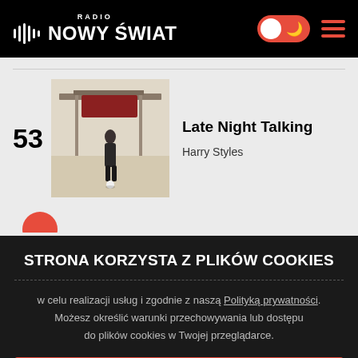RADIO NOWY ŚWIAT
53
[Figure (photo): Album cover for Late Night Talking by Harry Styles - person in a room]
Late Night Talking
Harry Styles
STRONA KORZYSTA Z PLIKÓW COOKIES
w celu realizacji usług i zgodnie z naszą Polityką prywatności. Możesz określić warunki przechowywania lub dostępu do plików cookies w Twojej przeglądarce.
ZAMKNIJ